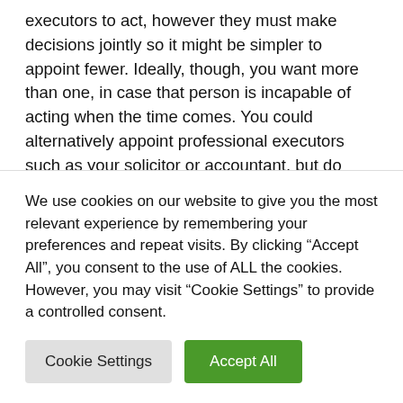executors to act, however they must make decisions jointly so it might be simpler to appoint fewer. Ideally, though, you want more than one, in case that person is incapable of acting when the time comes. You could alternatively appoint professional executors such as your solicitor or accountant, but do bear in mind that they will charge for their time spent.
Who should I choose as executor of my will?
We use cookies on our website to give you the most relevant experience by remembering your preferences and repeat visits. By clicking “Accept All”, you consent to the use of ALL the cookies. However, you may visit “Cookie Settings” to provide a controlled consent.